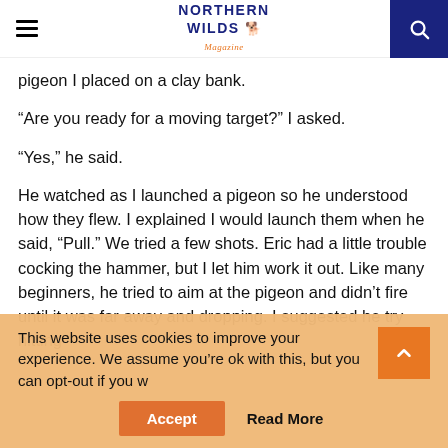Northern Wilds Magazine
pigeon I placed on a clay bank.
“Are you ready for a moving target?” I asked.
“Yes,” he said.
He watched as I launched a pigeon so he understood how they flew. I explained I would launch them when he said, “Pull.” We tried a few shots. Eric had a little trouble cocking the hammer, but I let him work it out. Like many beginners, he tried to aim at the pigeon and didn’t fire until it was far away and dropping. I suggested he try hitting
This website uses cookies to improve your experience. We assume you’re ok with this, but you can opt-out if you w